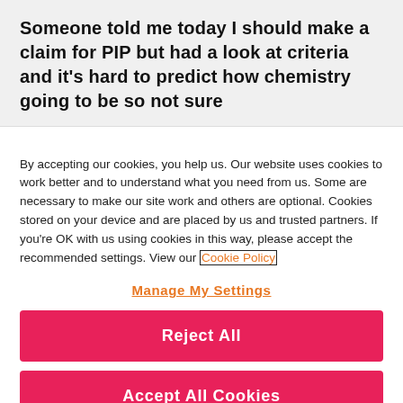Someone told me today I should make a claim for PIP but had a look at criteria and it's hard to predict how chemistry going to be so not sure
By accepting our cookies, you help us. Our website uses cookies to work better and to understand what you need from us. Some are necessary to make our site work and others are optional. Cookies stored on your device and are placed by us and trusted partners. If you're OK with us using cookies in this way, please accept the recommended settings. View our Cookie Policy
Manage My Settings
Reject All
Accept All Cookies